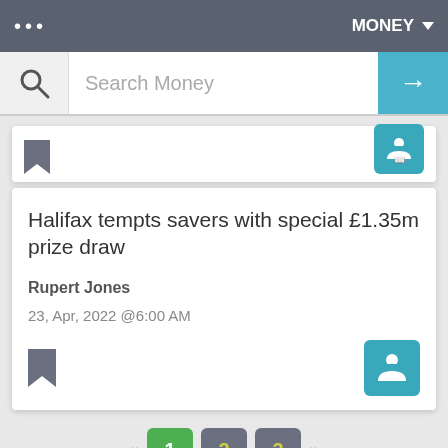MONEY
Search Money
[Figure (screenshot): Partial article card with bookmark and reader icons]
Halifax tempts savers with special £1.35m prize draw
Rupert Jones
23, Apr, 2022 @6:00 AM
Pagination: « 1 2 3 »
1 / 242 pages